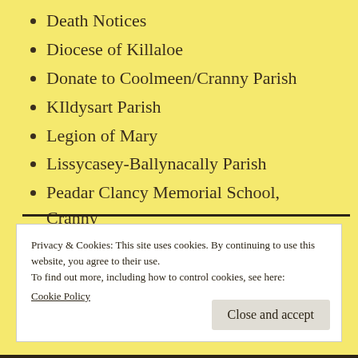Death Notices
Diocese of Killaloe
Donate to Coolmeen/Cranny Parish
KIldysart Parish
Legion of Mary
Lissycasey-Ballynacally Parish
Peadar Clancy Memorial School, Cranny
The Irish Bishops' Conference
Privacy & Cookies: This site uses cookies. By continuing to use this website, you agree to their use.
To find out more, including how to control cookies, see here:
Cookie Policy
Close and accept